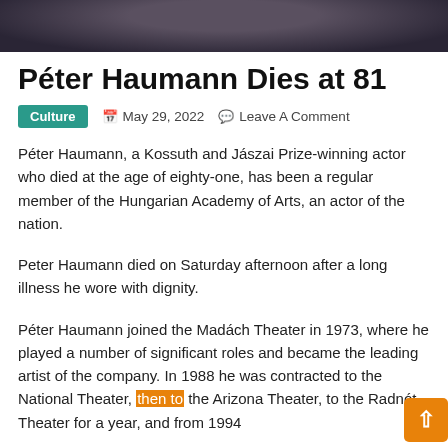[Figure (photo): Cropped photo of Péter Haumann, showing dark clothing against a light background, only the lower part of the face and torso visible.]
Péter Haumann Dies at 81
Culture   📅 May 29, 2022   💬 Leave A Comment
Péter Haumann, a Kossuth and Jászai Prize-winning actor who died at the age of eighty-one, has been a regular member of the Hungarian Academy of Arts, an actor of the nation.
Peter Haumann died on Saturday afternoon after a long illness he wore with dignity.
Péter Haumann joined the Madách Theater in 1973, where he played a number of significant roles and became the leading artist of the company. In 1988 he was contracted to the National Theater, then to the Arizona Theater, to the Radnót Theater for a year, and from 1994